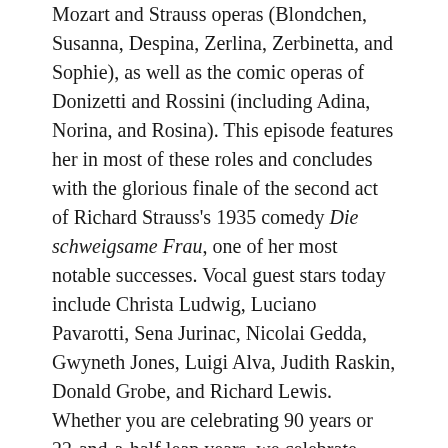Mozart and Strauss operas (Blondchen, Susanna, Despina, Zerlina, Zerbinetta, and Sophie), as well as the comic operas of Donizetti and Rossini (including Adina, Norina, and Rosina). This episode features her in most of these roles and concludes with the glorious finale of the second act of Richard Strauss's 1935 comedy Die schweigsame Frau, one of her most notable successes. Vocal guest stars today include Christa Ludwig, Luciano Pavarotti, Sena Jurinac, Nicolai Gedda, Gwyneth Jones, Luigi Alva, Judith Raskin, Donald Grobe, and Richard Lewis. Whether you are celebrating 90 years or 22-and-a-half leap years, we celebrate you, Frau Grist, and offer heartfelt thanks for the joys that you have offered us.
Countermelody is a podcast devoted to the glory and the power of the human voice raised in song. Singer and vocal aficionado Daniel Gundlach explores great singers of the past and present